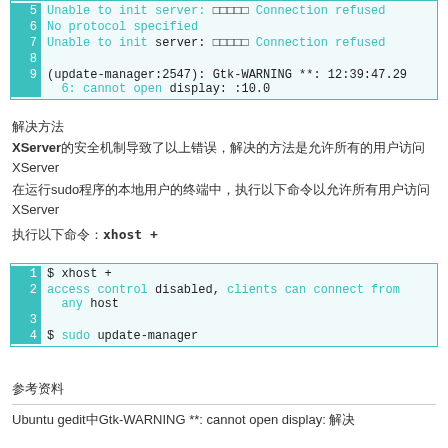[Figure (screenshot): Code block showing lines 5-9 of terminal output with xhost/X server errors]
解决方法
XServer的安全机制导致了以上错误，解决的方法是允许所有的用户访问XServer
在运行sudo程序的本地用户的终端中，执行以下命令以允许所有用户访问XServer
执行以下命令：xhost +
[Figure (screenshot): Code block showing xhost + command and sudo update-manager]
参考资料
Ubuntu gedit中Gtk-WARNING **: cannot open display: 解决